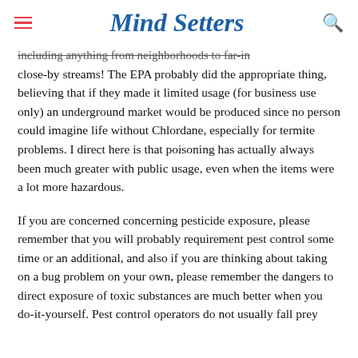Mind Setters
...including anything from neighborhoods to far-in close-by streams! The EPA probably did the appropriate thing, believing that if they made it limited usage (for business use only) an underground market would be produced since no person could imagine life without Chlordane, especially for termite problems. I direct here is that poisoning has actually always been much greater with public usage, even when the items were a lot more hazardous.
If you are concerned concerning pesticide exposure, please remember that you will probably requirement pest control some time or an additional, and also if you are thinking about taking on a bug problem on your own, please remember the dangers to direct exposure of toxic substances are much better when you do-it-yourself. Pest control operators do not usually fall prey...